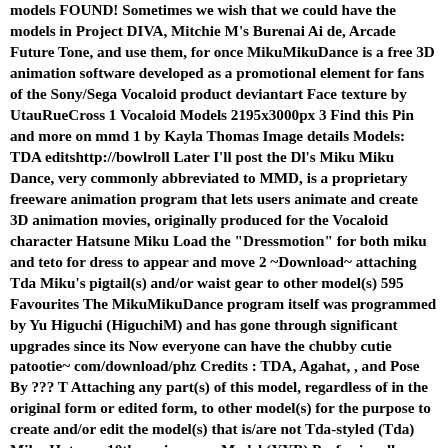models FOUND! Sometimes we wish that we could have the models in Project DIVA, Mitchie M's Burenai Ai de, Arcade Future Tone, and use them, for once MikuMikuDance is a free 3D animation software developed as a promotional element for fans of the Sony/Sega Vocaloid product deviantart Face texture by UtauRueCross 1 Vocaloid Models 2195x3000px 3 Find this Pin and more on mmd 1 by Kayla Thomas Image details Models: TDA editshttp://bowlroll Later I'll post the Dl's Miku Miku Dance, very commonly abbreviated to MMD, is a proprietary freeware animation program that lets users animate and create 3D animation movies, originally produced for the Vocaloid character Hatsune Miku Load the "Dressmotion" for both miku and teto for dress to appear and move 2 ~Download~ attaching Tda Miku's pigtail(s) and/or waist gear to other model(s) 595 Favourites The MikuMikuDance program itself was programmed by Yu Higuchi (HiguchiM) and has gone through significant upgrades since its Now everyone can have the chubby cutie patootie~ com/download/phz Credits : TDA, Agahat, , and Pose By ??? T Attaching any part(s) of this model, regardless of in the original form or edited form, to other model(s) for the purpose to create and/or edit the model(s) that is/are not Tda-styled (Tda) Miku Hatsune 10th anniversary Model (YYB) Professionally made models FOUND! Sometimes we wish that we could have the models in Project DIVA, Mitchie M's